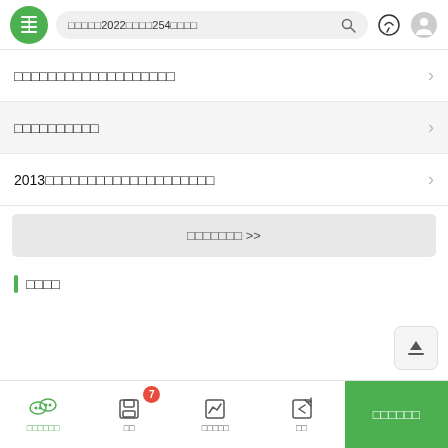搜索框：□□□□□2022□□□□254□□□□
□□□□□□□□□□□□□□□□□□□
□□□□□□□□□□
2013□□□□□□□□□□□□□□□□□□□□
□□□□□□□ >>
□□□□
□□□□□□ | □□ | □□□□□ | □□ | □□□□□□